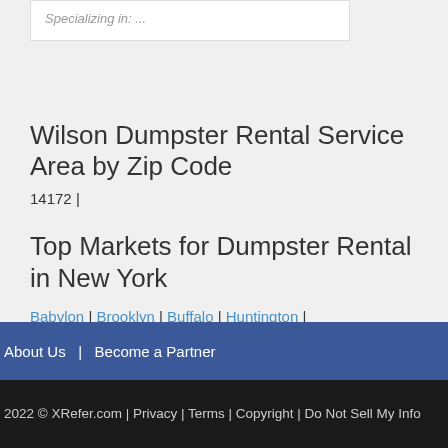Specializing in: ...
Wilson Dumpster Rental Service Area by Zip Code
14172 |
Top Markets for Dumpster Rental in New York
Babylon | Brooklyn | Buffalo | Huntington | Jamaica | New York | North Hempstead | Oyster Bay | Rochester | Staten Island |
About Us  |  Become a Partner
2022 © XRefer.com | Privacy | Terms | Copyright | Do Not Sell My Info